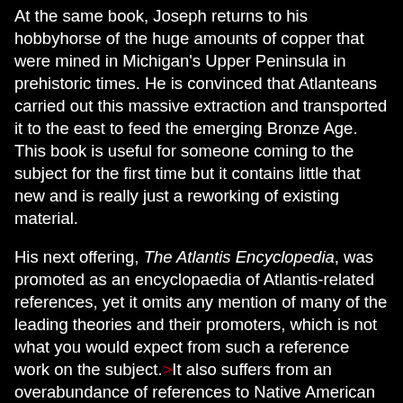At the same book, Joseph returns to his hobbyhorse of the huge amounts of copper that were mined in Michigan's Upper Peninsula in prehistoric times. He is convinced that Atlanteans carried out this massive extraction and transported it to the east to feed the emerging Bronze Age. This book is useful for someone coming to the subject for the first time but it contains little that new and is really just a reworking of existing material.
His next offering, The Atlantis Encyclopedia, was promoted as an encyclopaedia of Atlantis-related references, yet it omits any mention of many of the leading theories and their promoters, which is not what you would expect from such a reference work on the subject. >It also suffers from an overabundance of references to Native American mythologies, which at best have only the shakiest connection with Plato's Atlantis.<
>Although The Atlantis Encyclopedia was published in 2005, it was only recently (July 2022) that Thorwald C. Franke, in his newsletter #197(r), applied his very sharp scalpel to the contents of the book. Franke points out a number of errors, but reserves his most detailed criticism for Joseph's entry relating to the 'Third Reich'. Franke's